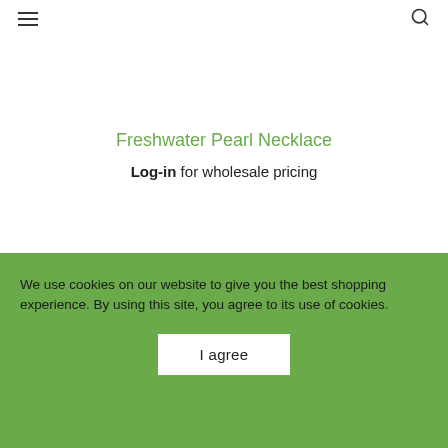☰ [menu icon] | [search icon]
Freshwater Pearl Necklace
Log-in for wholesale pricing
We use cookies on our website to give you the best shopping experience. By using this site, you agree to its use of cookies.
I agree